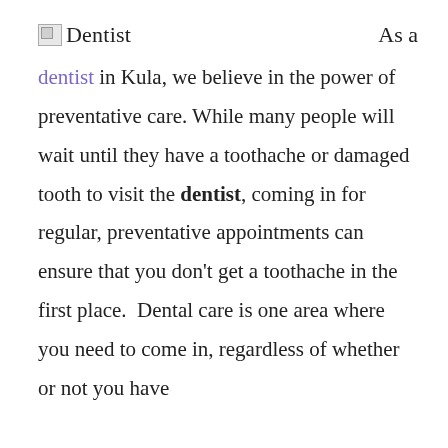Dentist    As a
dentist in Kula, we believe in the power of preventative care. While many people will wait until they have a toothache or damaged tooth to visit the dentist, coming in for regular, preventative appointments can ensure that you don't get a toothache in the first place.  Dental care is one area where you need to come in, regardless of whether or not you have